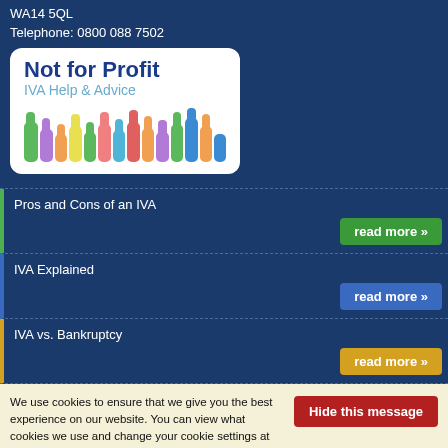WA14 5QL
Telephone: 0800 088 7502
[Figure (logo): Not for Profit IVA Help & Advice logo with colorful raised hands]
Pros and Cons of an IVA — read more »
IVA Explained — read more »
IVA vs. Bankruptcy — read more »
We use cookies to ensure that we give you the best experience on our website. You can view what cookies we use and change your cookie settings at any time by following the instructions here. We will assume based on your 'implied consent' that if you continue to use our website without changing your settings you are happy for us to use cookies.